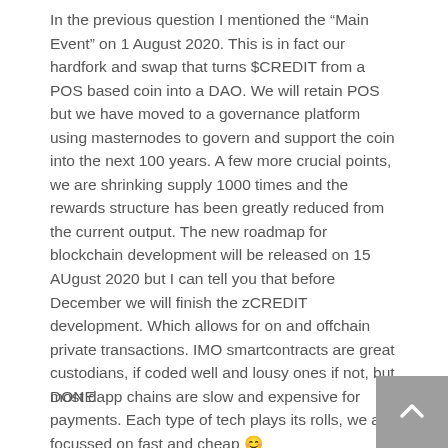In the previous question I mentioned the “Main Event” on 1 August 2020. This is in fact our hardfork and swap that turns $CREDIT from a POS based coin into a DAO. We will retain POS but we have moved to a governance platform using masternodes to govern and support the coin into the next 100 years. A few more crucial points, we are shrinking supply 1000 times and the rewards structure has been greatly reduced from the current output. The new roadmap for blockchain development will be released on 15 AUgust 2020 but I can tell you that before December we will finish the zCREDIT development. Which allows for on and offchain private transactions. IMO smartcontracts are great custodians, if coded well and lousy ones if not, but most dapp chains are slow and expensive for payments. Each type of tech plays its rolls, we are focussed on fast and cheap 😊
DONE